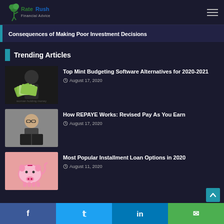RateRush
Consequences of Making Poor Investment Decisions
Trending Articles
Top Mint Budgeting Software Alternatives for 2020-2021 | August 17, 2020
How REPAYE Works: Revised Pay As You Earn | August 17, 2020
Most Popular Installment Loan Options in 2020 | August 11, 2020
f  t  in  mail